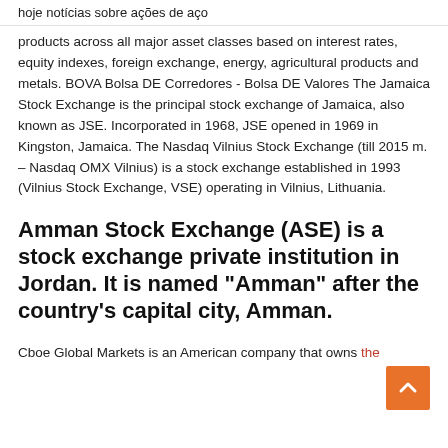hoje notícias sobre ações de aço
products across all major asset classes based on interest rates, equity indexes, foreign exchange, energy, agricultural products and metals. BOVA Bolsa DE Corredores - Bolsa DE Valores The Jamaica Stock Exchange is the principal stock exchange of Jamaica, also known as JSE. Incorporated in 1968, JSE opened in 1969 in Kingston, Jamaica. The Nasdaq Vilnius Stock Exchange (till 2015 m. – Nasdaq OMX Vilnius) is a stock exchange established in 1993 (Vilnius Stock Exchange, VSE) operating in Vilnius, Lithuania.
Amman Stock Exchange (ASE) is a stock exchange private institution in Jordan. It is named "Amman" after the country's capital city, Amman.
Cboe Global Markets is an American company that owns the Chicago Board Options Exchange and the stock exchange operator BATS Global Markets.